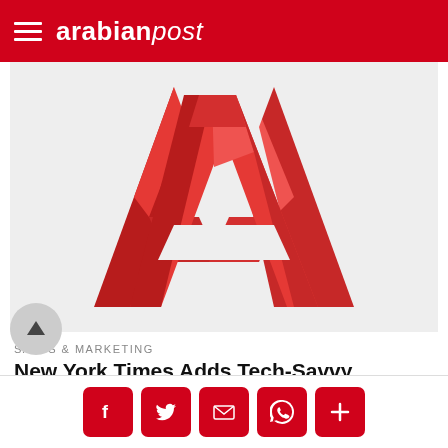arabianpost
[Figure (logo): Large red 3D letter A logo on light grey background]
SALES & MARKETING
New York Times Adds Tech-Savvy Directors to Its Board
JULY 22, 2012